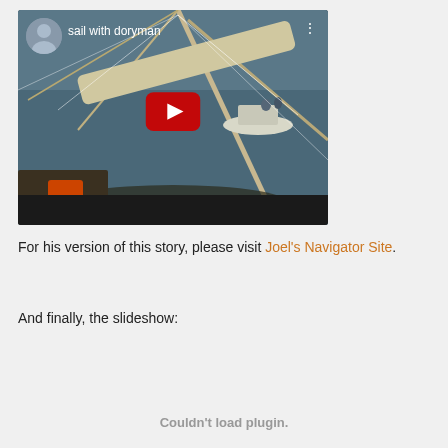[Figure (screenshot): YouTube video thumbnail for 'sail with doryman' channel showing a sailboat scene on the water with a red YouTube play button in the center, channel avatar in top-left, and dark bottom bar.]
For his version of this story, please visit Joel's Navigator Site.
And finally, the slideshow:
Couldn't load plugin.